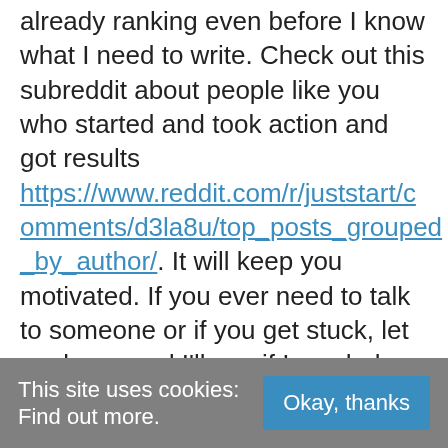already ranking even before I know what I need to write. Check out this subreddit about people like you who started and took action and got results https://www.reddit.com/r/juststart/comments/d3la8u/top_posts_grouped_by_author/. It will keep you motivated. If you ever need to talk to someone or if you get stuck, let me know and I'll see if I can help. take care
This site uses cookies: Find out more.
Okay, thanks